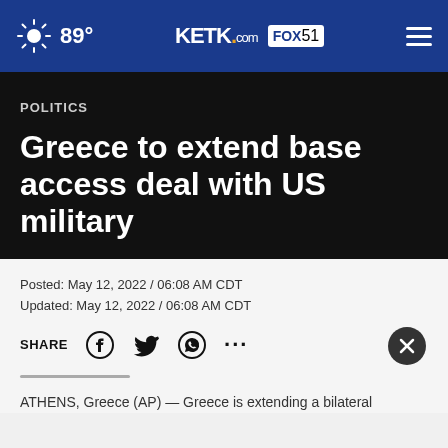89° KETK.com FOX51
POLITICS
Greece to extend base access deal with US military
Posted: May 12, 2022 / 06:08 AM CDT
Updated: May 12, 2022 / 06:08 AM CDT
SHARE
ATHENS, Greece (AP) — Greece is extending a bilateral